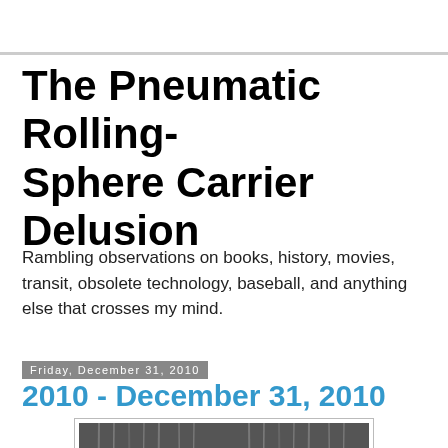The Pneumatic Rolling-Sphere Carrier Delusion
Rambling observations on books, history, movies, transit, obsolete technology, baseball, and anything else that crosses my mind.
Friday, December 31, 2010
2010 - December 31, 2010
[Figure (photo): Black and white photograph of a young girl smiling, standing amid hanging streamers or tinsel, with curly hair and wearing a festive outfit.]